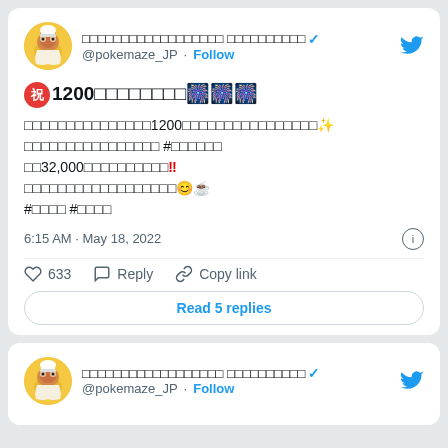[Figure (screenshot): Twitter/X tweet card from @pokemaze_JP with Eevee avatar, Japanese text celebrating 1200 followers, date 6:15 AM May 18, 2022, 633 likes, reply/copy link actions, Read 5 replies button]
祝1200□□□□□□□□ [celebration emojis]
□□□□□□□□□□□□□□□1200□□□□□□□□□□□□□□✨
□□□□□□□□□□□□□□□□ #□□□□□□
□□32,000□□□□□□□□□□！！
□□□□□□□□□□□□□□□□□□😊☕
#□□□□ #□□□□
6:15 AM · May 18, 2022
633  Reply  Copy link
Read 5 replies
[Figure (screenshot): Second Twitter/X tweet card header from @pokemaze_JP with same Eevee avatar]